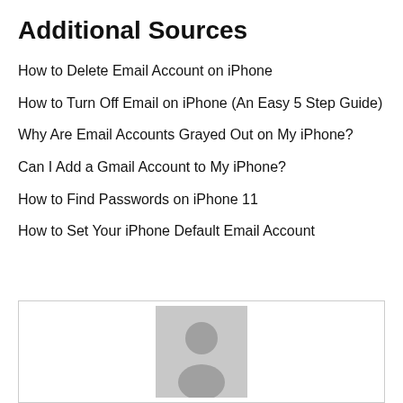Additional Sources
How to Delete Email Account on iPhone
How to Turn Off Email on iPhone (An Easy 5 Step Guide)
Why Are Email Accounts Grayed Out on My iPhone?
Can I Add a Gmail Account to My iPhone?
How to Find Passwords on iPhone 11
How to Set Your iPhone Default Email Account
[Figure (illustration): Author avatar placeholder showing a generic person silhouette icon inside a light gray square within a bordered box]